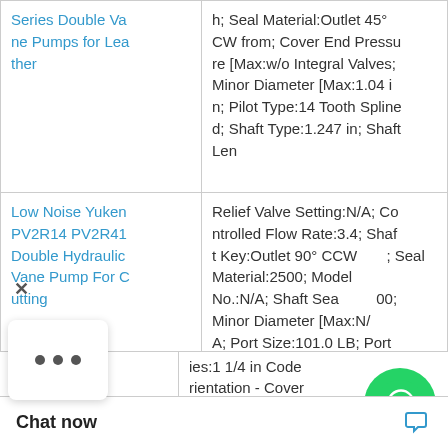| Product | Description |
| --- | --- |
| Series Double Vane Pumps for Leather | h; Seal Material:Outlet 45° CW from; Cover End Pressure [Max:w/o Integral Valves; Minor Diameter [Max:1.04 in; Pilot Type:14 Tooth Splined; Shaft Type:1.247 in; Shaft Len |
| Low Noise Yuken PV2R14 PV2R41 Double Hydraulic Vane Pump For Cutting | Relief Valve Setting:N/A; Controlled Flow Rate:3.4; Shaft Key:Outlet 90° CCW; Seal Material:2500; Model No.:N/A; Shaft Seal Type:00; Minor Diameter [Max:N/A; Port Size:101.0 LB; Port Orientation - Cover End:N/A; Spline Description:1.25 in; Shaft End RPM [Max:1800; Shaft Length:2.4375 in; Majo |
|  | ies:1 1/4 in Code rientation - Cover |
Chat now